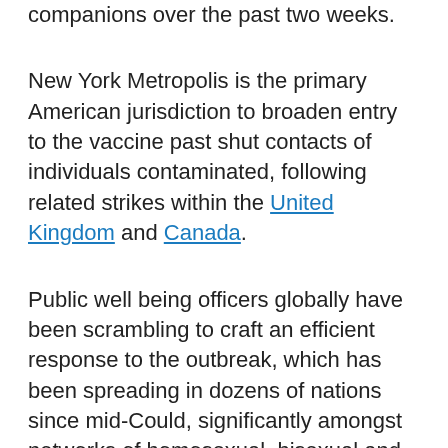companions over the past two weeks.
New York Metropolis is the primary American jurisdiction to broaden entry to the vaccine past shut contacts of individuals contaminated, following related strikes within the United Kingdom and Canada.
Public well being officers globally have been scrambling to craft an efficient response to the outbreak, which has been spreading in dozens of nations since mid-Could, significantly amongst networks of homosexual, bisexual and different males who've intercourse with males.
New York Metropolis reported 30 cases of the monkeypox virus as of Thursday. Nationally,